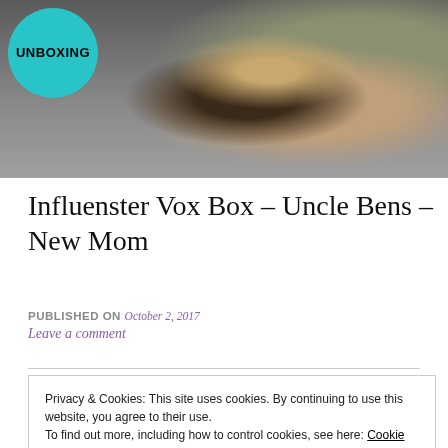[Figure (screenshot): Thumbnail image showing a person holding a package with UNBOXING badge overlay in teal circle top-left]
Influenster Vox Box – Uncle Bens – New Mom
PUBLISHED ON October 2, 2017
Leave a comment
Privacy & Cookies: This site uses cookies. By continuing to use this website, you agree to their use.
To find out more, including how to control cookies, see here: Cookie Policy
Close and accept